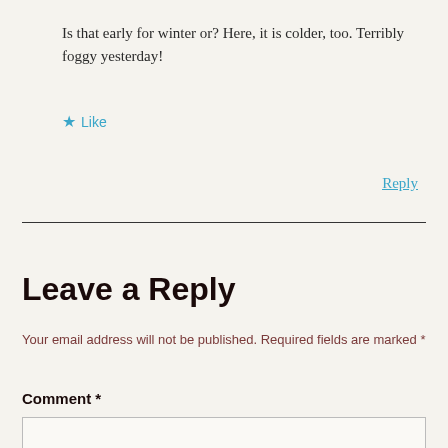Is that early for winter or? Here, it is colder, too. Terribly foggy yesterday!
★ Like
Reply
Leave a Reply
Your email address will not be published. Required fields are marked *
Comment *